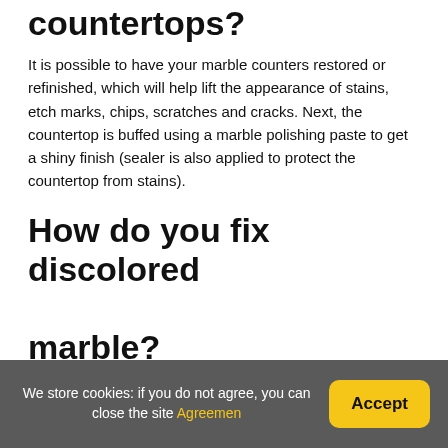countertops?
It is possible to have your marble counters restored or refinished, which will help lift the appearance of stains, etch marks, chips, scratches and cracks. Next, the countertop is buffed using a marble polishing paste to get a shiny finish (sealer is also applied to protect the countertop from stains).
How do you fix discolored marble?
A homemade paste of baking soda and acetone can do the trick too; let this sit on the stain for about 24 hours and clean as usual. Remember to avoid cleaners with acidic ingredients.
We store cookies: if you do not agree, you can close the site Agreemen   Accept